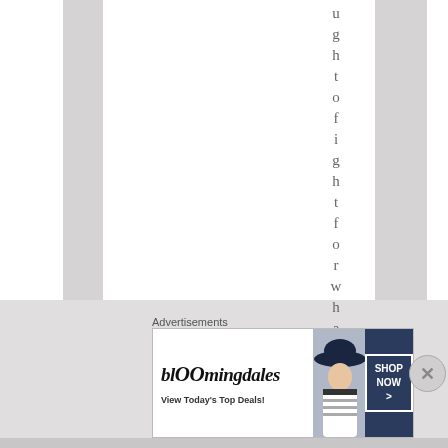ughtofightforwhat i
[Figure (other): Bloomingdales advertisement banner with text 'blOOmingdales View Today's Top Deals!' and 'SHOP NOW >']
Advertisements